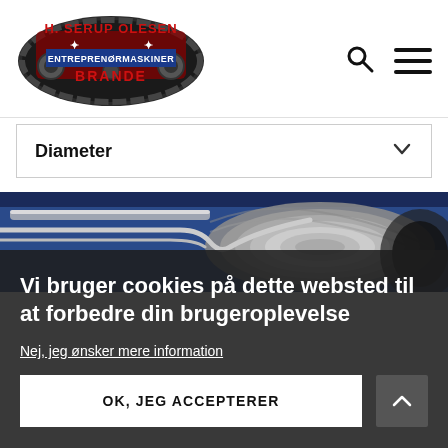[Figure (logo): H. Serup Olesen Entreprenørmaskiner Brande company logo — oval shape with machinery image, red and dark blue text]
[Figure (infographic): Search icon (magnifying glass) and hamburger menu icon in page header]
Diameter
[Figure (photo): Blue industrial machinery with coiled steel wire/cable]
Vi bruger cookies på dette websted til at forbedre din brugeroplevelse
Nej, jeg ønsker mere information
OK, JEG ACCEPTERER